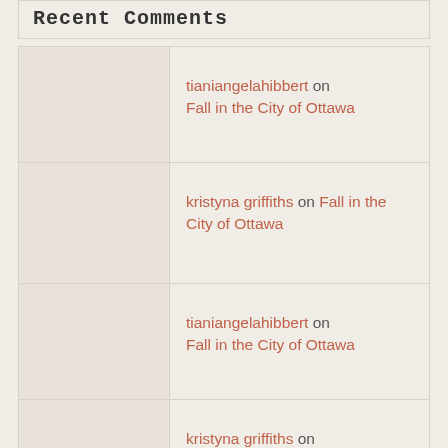Recent Comments
tianiangelahibbert on Fall in the City of Ottawa
kristyna griffiths on Fall in the City of Ottawa
tianiangelahibbert on Fall in the City of Ottawa
kristyna griffiths on Newborn Necessities: What Do Y...